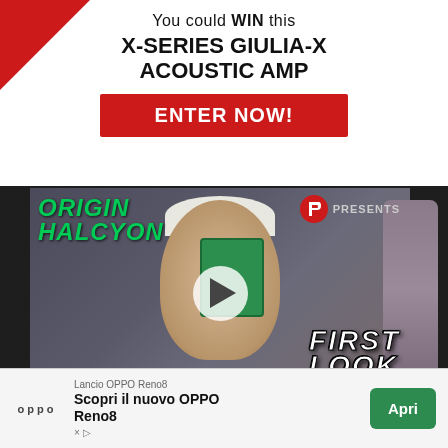You could WIN this X-SERIES GIULIA-X ACOUSTIC AMP
ENTER NOW!
[Figure (screenshot): Video thumbnail showing a person holding a guitar pedal with 'Origin Halcyon' text on left, PG Presents logo top right, and 'First Look' overlay text. Play button in center.]
[Figure (photo): Advertisement banner: Lancio OPPO Reno8 - OPPO logo - Scopri il nuovo OPPO Reno8 - Apri button]